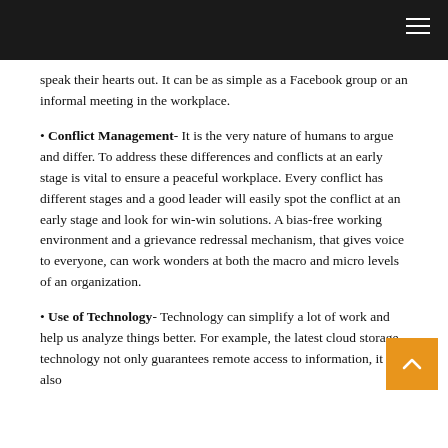speak their hearts out. It can be as simple as a Facebook group or an informal meeting in the workplace.
• Conflict Management- It is the very nature of humans to argue and differ. To address these differences and conflicts at an early stage is vital to ensure a peaceful workplace. Every conflict has different stages and a good leader will easily spot the conflict at an early stage and look for win-win solutions. A bias-free working environment and a grievance redressal mechanism, that gives voice to everyone, can work wonders at both the macro and micro levels of an organization.
• Use of Technology- Technology can simplify a lot of work and help us analyze things better. For example, the latest cloud storage technology not only guarantees remote access to information, it also